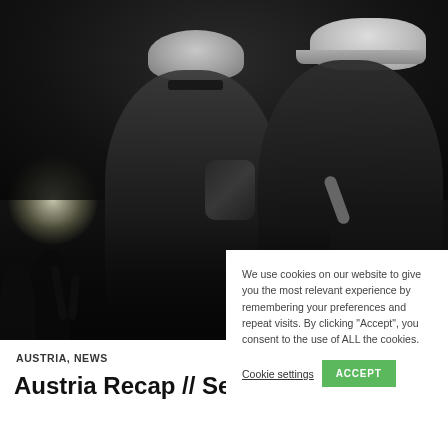[Figure (photo): Black and white concert photo of two male performers on stage, both wearing caps (bucket hat and baseball cap), one holding a microphone, crowd visible in background with stage lighting]
We use cookies on our website to give you the most relevant experience by remembering your preferences and repeat visits. By clicking “Accept”, you consent to the use of ALL the cookies.
Cookie settings   ACCEPT
AUSTRIA, NEWS
Austria Recap // September 2021